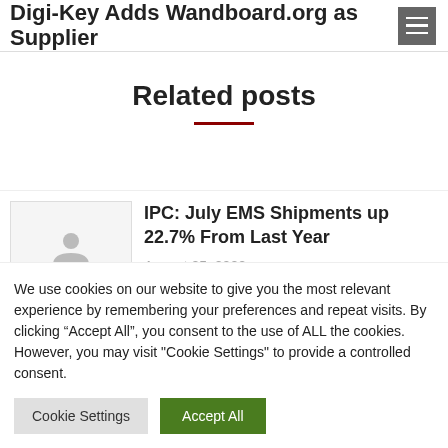Digi-Key Adds Wandboard.org as Supplier
Related posts
IPC: July EMS Shipments up 22.7% From Last Year
August 25, 2022
We use cookies on our website to give you the most relevant experience by remembering your preferences and repeat visits. By clicking “Accept All”, you consent to the use of ALL the cookies. However, you may visit "Cookie Settings" to provide a controlled consent.